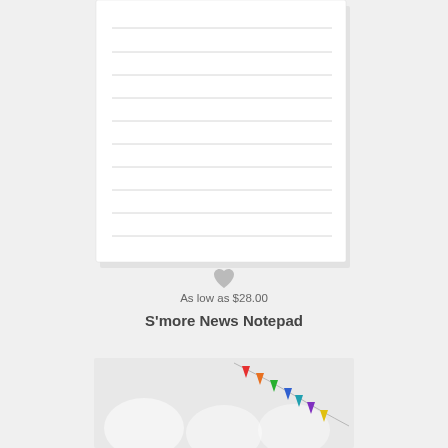[Figure (illustration): A white lined notepad with horizontal gray ruled lines, shown with a slight shadow, cut off at the top.]
[Figure (illustration): A small gray heart icon used as a wishlist/favorite button.]
As low as $28.00
S'more News Notepad
[Figure (illustration): Bottom portion of a second product: a light gray background with colorful triangle bunting/banner flags in red, orange, green, blue, purple, and yellow hanging diagonally; partial circular light blur effects visible.]